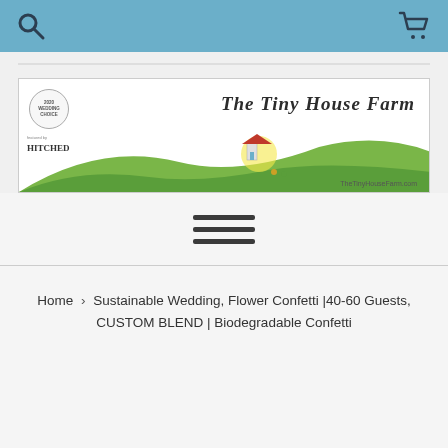The Tiny House Farm - navigation header with search and cart icons
[Figure (screenshot): The Tiny House Farm website banner with colorful pennant bunting, green hills, a small house illustration, and the brand name 'The Tiny House Farm' in stylized script. TheTinyHouseFarm.com URL shown. 2020 badge and 'featured by' logo visible on left.]
[Figure (other): Hamburger menu icon with three horizontal bars]
Home › Sustainable Wedding, Flower Confetti |40-60 Guests, CUSTOM BLEND | Biodegradable Confetti